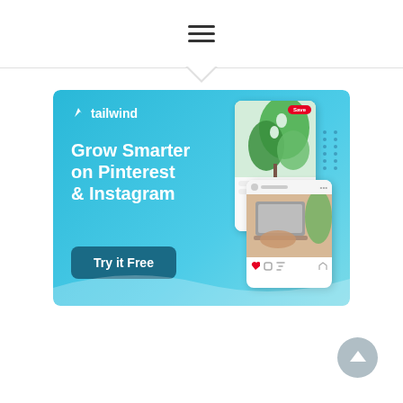Navigation menu (hamburger icon)
[Figure (screenshot): Tailwind advertisement banner with light blue background. Shows Tailwind logo (white), headline 'Grow Smarter on Pinterest & Instagram', a 'Try it Free' CTA button in dark teal, and mockup phone/Pinterest card images on the right side.]
[Figure (screenshot): Circular scroll-to-top button in grey/blue at bottom right of page]